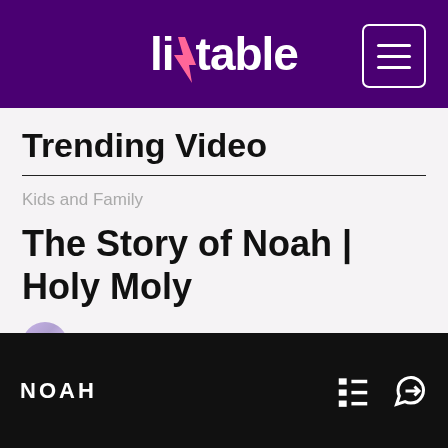liftable
Trending Video
Kids and Family
The Story of Noah | Holy Moly
By Liftable Team · June 22, 2022 at 3:58pm
[Figure (other): Social share icons: Twitter, Facebook, LinkedIn, Share]
NOAH